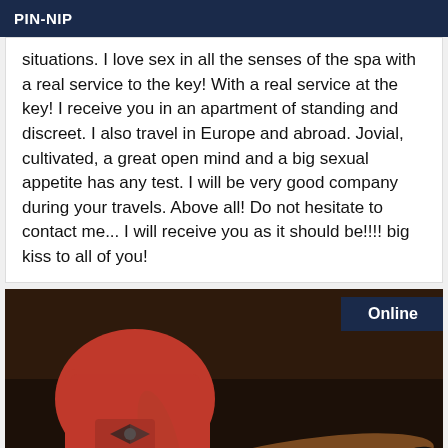PIN-NIP
situations. I love sex in all the senses of the spa with a real service to the key! With a real service at the key! I receive you in an apartment of standing and discreet. I also travel in Europe and abroad. Jovial, cultivated, a great open mind and a big sexual appetite has any test. I will be very good company during your travels. Above all! Do not hesitate to contact me... I will receive you as it should be!!!! big kiss to all of you!
[Figure (photo): Person wearing red outfit lying on dark couch, online badge in top right corner]